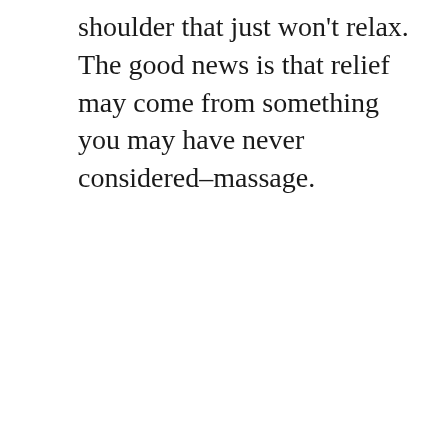shoulder that just won't relax. The good news is that relief may come from something you may have never considered–massage.